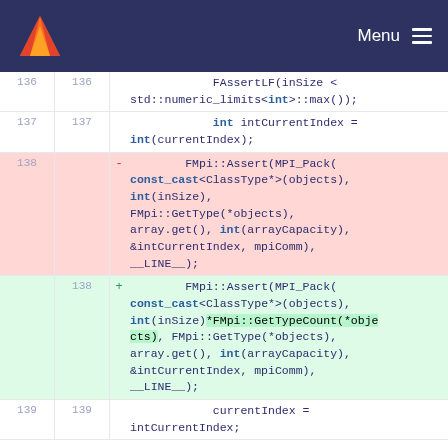Menu
[Figure (screenshot): GitLab code diff view showing changes to lines 136-139 of a C++ source file. Line 138 is deleted (pink background) and replaced with a new line 138 (green background) that adds *FMpi::GetTypeCount(*objects) multiplication to the int(inSize) argument.]